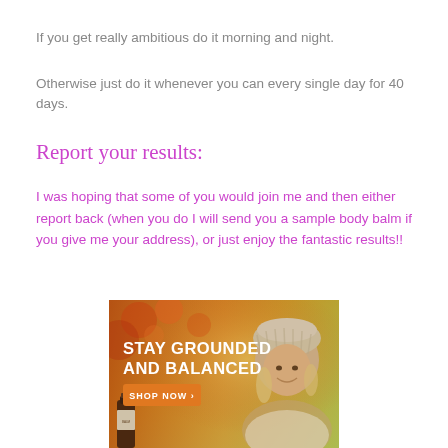If you get really ambitious do it morning and night.
Otherwise just do it whenever you can every single day for 40 days.
Report your results:
I was hoping that some of you would join me and then either report back (when you do I will send you a sample body balm if you give me your address), or just enjoy the fantastic results!!
[Figure (photo): Advertisement banner with autumn background, woman wearing a knit hat, text 'STAY GROUNDED AND BALANCED' with a 'SHOP NOW' button and a product bottle visible at bottom left.]